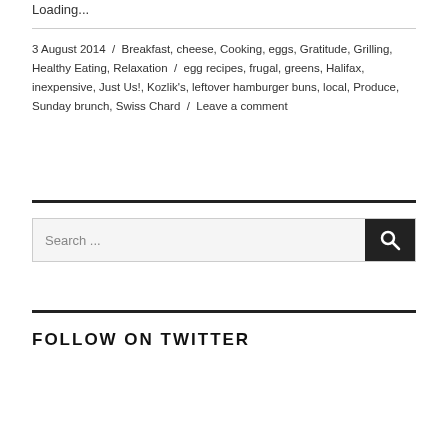Loading...
3 August 2014 / Breakfast, cheese, Cooking, eggs, Gratitude, Grilling, Healthy Eating, Relaxation / egg recipes, frugal, greens, Halifax, inexpensive, Just Us!, Kozlik's, leftover hamburger buns, local, Produce, Sunday brunch, Swiss Chard / Leave a comment
[Figure (other): Search box with text 'Search ...' and a dark search button with magnifying glass icon]
FOLLOW ON TWITTER